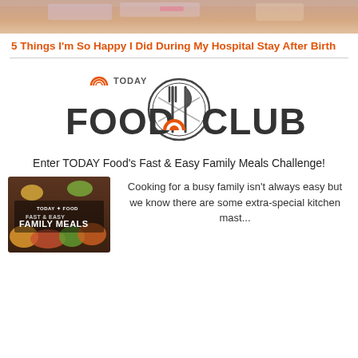[Figure (photo): Partial photo showing a baby or newborn in a hospital setting, cropped at the top of the page]
5 Things I'm So Happy I Did During My Hospital Stay After Birth
[Figure (logo): TODAY Food Club logo with fork and knife crossed in a circle, orange rainbow icon for TODAY, large bold FOOD CLUB text]
Enter TODAY Food's Fast & Easy Family Meals Challenge!
[Figure (photo): TODAY Food Fast & Easy Family Meals promotional image showing various food dishes]
Cooking for a busy family isn't always easy but we know there are some extra-special kitchen mast...